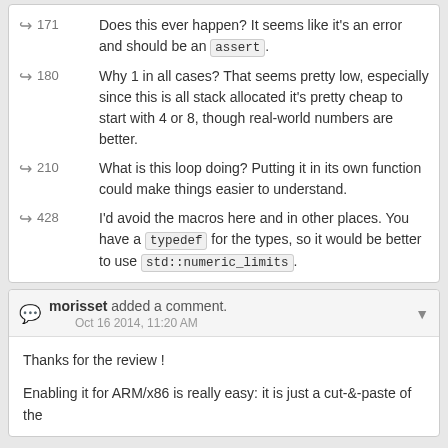171 — Does this ever happen? It seems like it's an error and should be an assert.
180 — Why 1 in all cases? That seems pretty low, especially since this is all stack allocated it's pretty cheap to start with 4 or 8, though real-world numbers are better.
210 — What is this loop doing? Putting it in its own function could make things easier to understand.
428 — I'd avoid the macros here and in other places. You have a typedef for the types, so it would be better to use std::numeric_limits.
morisset added a comment. Oct 16 2014, 11:20 AM
Thanks for the review !

Enabling it for ARM/x86 is really easy: it is just a cut-&-paste of the